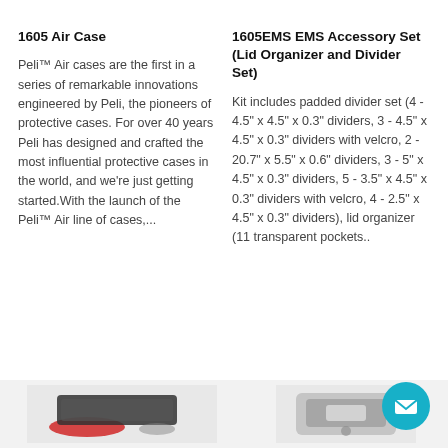1605 Air Case
Peli™ Air cases are the first in a series of remarkable innovations engineered by Peli, the pioneers of protective cases. For over 40 years Peli has designed and crafted the most influential protective cases in the world, and we're just getting started.With the launch of the Peli™ Air line of cases,...
1605EMS EMS Accessory Set (Lid Organizer and Divider Set)
Kit includes padded divider set (4 - 4.5" x 4.5" x 0.3" dividers, 3 - 4.5" x 4.5" x 0.3" dividers with velcro, 2 - 20.7" x 5.5" x 0.6" dividers, 3 - 5" x 4.5" x 0.3" dividers, 5 - 3.5" x 4.5" x 0.3" dividers with velcro, 4 - 2.5" x 4.5" x 0.3" dividers), lid organizer (11 transparent pockets..
[Figure (photo): Bottom strip showing product images of cases on gray background]